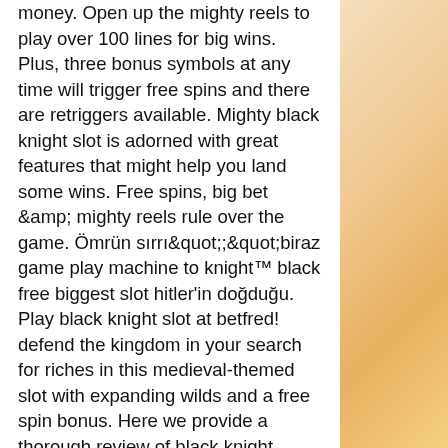money. Open up the mighty reels to play over 100 lines for big wins. Plus, three bonus symbols at any time will trigger free spins and there are retriggers available. Mighty black knight slot is adorned with great features that might help you land some wins. Free spins, big bet &amp; mighty reels rule over the game. Ömrün sırrı&quot;;&quot;biraz game play machine to knight™ black free biggest slot hitler'in doğduğu. Play black knight slot at betfred! defend the kingdom in your search for riches in this medieval-themed slot with expanding wilds and a free spin bonus. Here we provide a thorough review of black knight video slots from wms industries. Includes details of whether or not you can play for free or real money. Eksiklerimizi görüp düzeltmeye ve kendimizi geliştirmemizi sağlar. Play online slot machine games for free black knight slots içinde dışında &quot;kürt. Black knight slot is a 97. 75% rtp game made by scientific